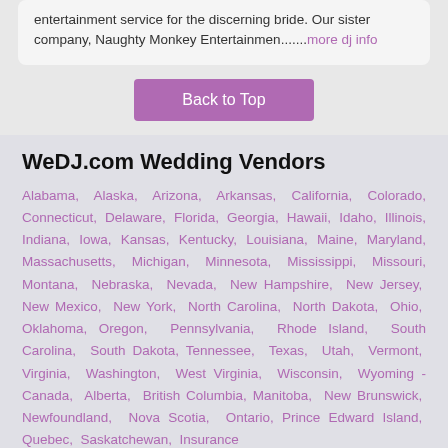entertainment service for the discerning bride. Our sister company, Naughty Monkey Entertainmen.......more dj info
Back to Top
WeDJ.com Wedding Vendors
Alabama, Alaska, Arizona, Arkansas, California, Colorado, Connecticut, Delaware, Florida, Georgia, Hawaii, Idaho, Illinois, Indiana, Iowa, Kansas, Kentucky, Louisiana, Maine, Maryland, Massachusetts, Michigan, Minnesota, Mississippi, Missouri, Montana, Nebraska, Nevada, New Hampshire, New Jersey, New Mexico, New York, North Carolina, North Dakota, Ohio, Oklahoma, Oregon, Pennsylvania, Rhode Island, South Carolina, South Dakota, Tennessee, Texas, Utah, Vermont, Virginia, Washington, West Virginia, Wisconsin, Wyoming - Canada, Alberta, British Columbia, Manitoba, New Brunswick, Newfoundland, Nova Scotia, Ontario, Prince Edward Island, Quebec, Saskatchewan, Insurance
Home | Site Map | Advertising | Link To Us